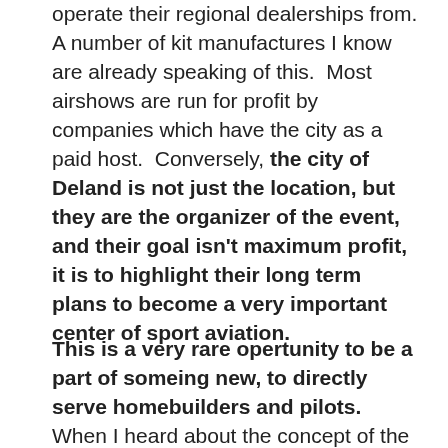operate their regional dealerships from. A number of kit manufactures I know are already speaking of this.  Most airshows are run for profit by companies which have the city as a paid host.  Conversely, the city of Deland is not just the location, but they are the organizer of the event, and their goal isn't maximum profit, it is to highlight their long term plans to become a very important center of sport aviation.
.
This is a very rare opertunity to be a part of someing new, to directly serve homebuilders and pilots. When I heard about the concept of the showcase, I